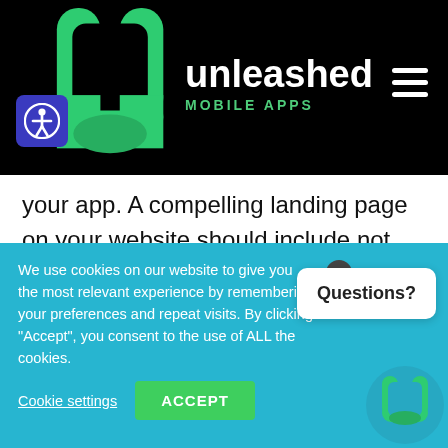[Figure (logo): Unleashed Mobile Apps logo with green U letterform on black background]
your app. A compelling landing page on your website should include not just the features of the app, but really emphasize the benefits users will gain from its use. Will your app save them money? Great! Talk about the great things they'll feel and do with all that extra money. Or how wonderful less
We use cookies on our website to give you the most relevant experience by remembering your preferences and repeat visits. By clicking "Accept", you consent to the use of ALL the cookies.
Cookie settings
ACCEPT
Questions?